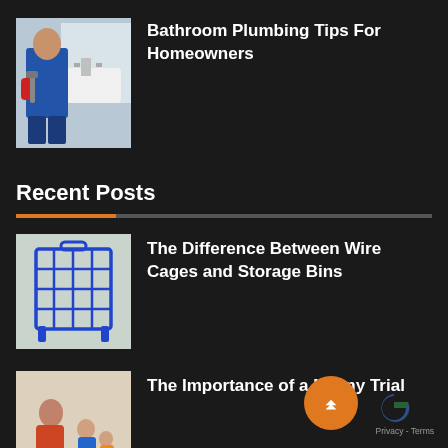[Figure (photo): Photo of a plumber in blue uniform holding tools near a sink]
Bathroom Plumbing Tips For Homeowners
Recent Posts
[Figure (photo): Photo of a blue wire cage/storage bin]
The Difference Between Wire Cages and Storage Bins
[Figure (photo): Photo of a nanny or mother playing with children on the floor]
The Importance of a Nanny Trial